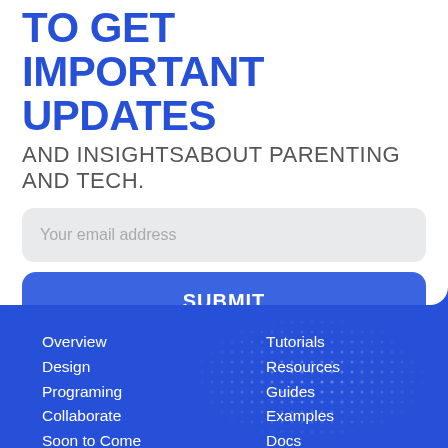TO GET IMPORTANT UPDATES
AND INSIGHTSABOUT PARENTING AND TECH.
Your email address
SUBMIT
Overview
Design
Programing
Collaborate
Soon to Come
Tutorials
Resources
Guides
Examples
Docs